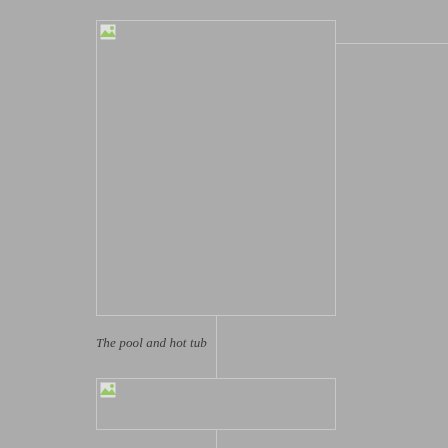[Figure (photo): Image placeholder showing a photo, likely of a pool and hot tub area. Broken image icon visible at top left of placeholder.]
The pool and hot tub
[Figure (photo): Second image placeholder, likely another view of the pool and hot tub area. Broken image icon visible at top left of placeholder.]